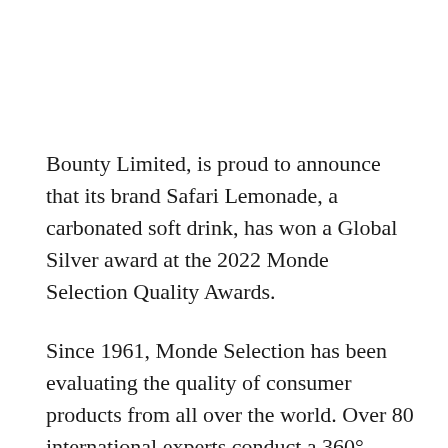Bounty Limited, is proud to announce that its brand Safari Lemonade, a carbonated soft drink, has won a Global Silver award at the 2022 Monde Selection Quality Awards.
Since 1961, Monde Selection has been evaluating the quality of consumer products from all over the world. Over 80 international experts conduct a 360° quality assessment in a completely independent way. Each product is tested individually on numerous parameters and then carefully selected according to the product category and consumer expectations. Products having met the expectations of the Jury on the evaluation are